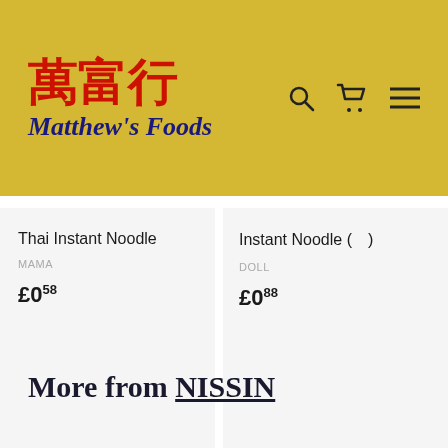[Figure (logo): Matthew's Foods logo with Chinese characters 萬富行 in red and English text Matthew's Foods in dark blue italic on yellow background with navigation icons]
Thai Instant Noodle
MAMA
£0.58
Instant Noodle (　)
DOLL
£0.88
Spice
( -
ASIAN
£1.58
More from NISSIN